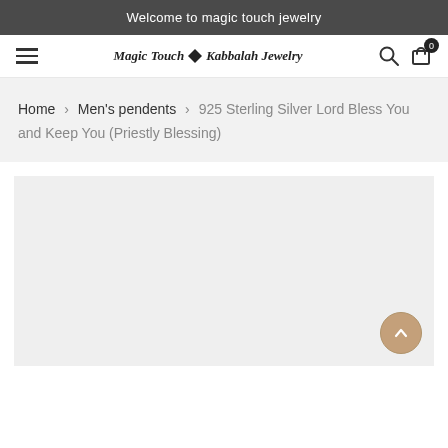Welcome to magic touch jewelry
Magic Touch ♦ Kabbalah Jewelry
Home › Men's pendents › 925 Sterling Silver Lord Bless You and Keep You (Priestly Blessing)
[Figure (photo): Product image placeholder area (light gray background)]